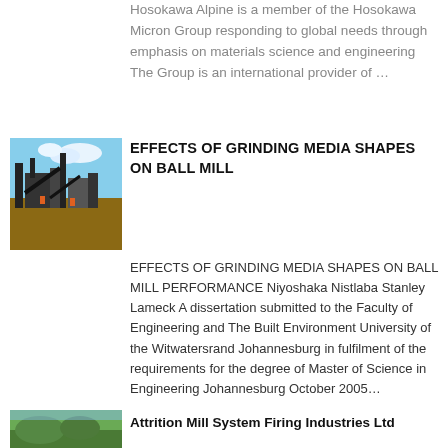Hosokawa Alpine is a member of the Hosokawa Micron Group responding to global needs through emphasis on materials science and engineering The Group is an international provider of …
[Figure (photo): Industrial machinery / mill equipment photo with blue sky background]
EFFECTS OF GRINDING MEDIA SHAPES ON BALL MILL
EFFECTS OF GRINDING MEDIA SHAPES ON BALL MILL PERFORMANCE Niyoshaka Nistlaba Stanley Lameck A dissertation submitted to the Faculty of Engineering and The Built Environment University of the Witwatersrand Johannesburg in fulfilment of the requirements for the degree of Master of Science in Engineering Johannesburg October 2005…
[Figure (photo): Landscape/industrial photo, partially visible at bottom of page]
Attrition Mill System Firing Industries Ltd